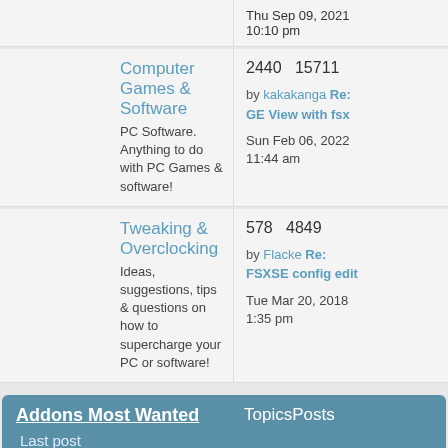Thu Sep 09, 2021 10:10 pm
Computer Games & Software
PC Software. Anything to do with PC Games & software!
2440  15711 by kakakanga Re: GE View with fsx Sun Feb 06, 2022 11:44 am
Tweaking & Overclocking
Ideas, suggestions, tips & questions on how to supercharge your PC or software!
578  4849 by Flacke Re: FSXSE config edit Tue Mar 20, 2018 1:35 pm
Addons Most Wanted  Topics Posts  Last post
Aircraft Wanted
What aircraft have you been unable to find after a long search? There may be an answer!
5378  23731 by Concorde001 Re: